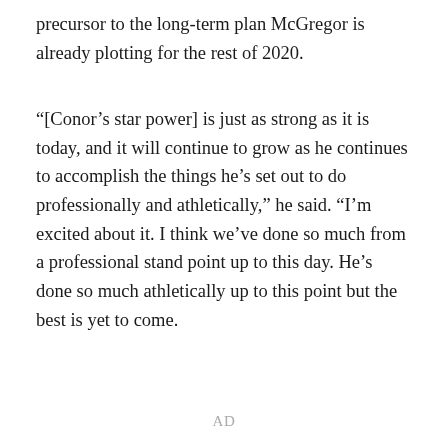precursor to the long-term plan McGregor is already plotting for the rest of 2020.
“[Conor’s star power] is just as strong as it is today, and it will continue to grow as he continues to accomplish the things he’s set out to do professionally and athletically,” he said. “I’m excited about it. I think we’ve done so much from a professional stand point up to this day. He’s done so much athletically up to this point but the best is yet to come.
AD